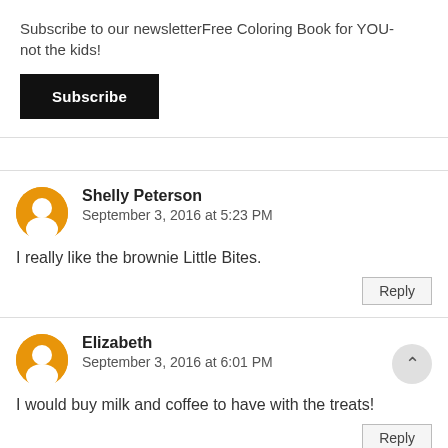Subscribe to our newsletterFree Coloring Book for YOU- not the kids!
Subscribe
Shelly Peterson
September 3, 2016 at 5:23 PM
I really like the brownie Little Bites.
Reply
Elizabeth
September 3, 2016 at 6:01 PM
I would buy milk and coffee to have with the treats!
Reply